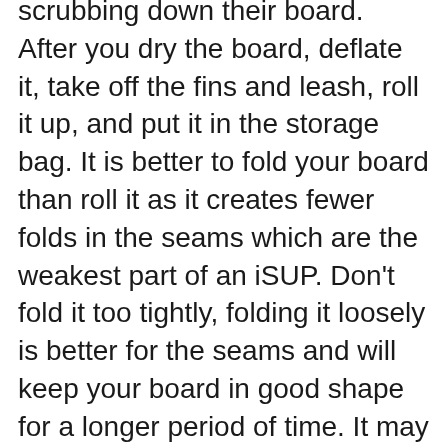scrubbing down their board. After you dry the board, deflate it, take off the fins and leash, roll it up, and put it in the storage bag. It is better to fold your board than roll it as it creates fewer folds in the seams which are the weakest part of an iSUP. Don't fold it too tightly, folding it loosely is better for the seams and will keep your board in good shape for a longer period of time. It may take a few times to get the fold the right length for the bag, but you will get it after a few tries.
A common question is “Can I keep it inflated?” The answer is YES! If you keep it inflated make sure to store it in a cool area (not in direct sun). If you are leaving